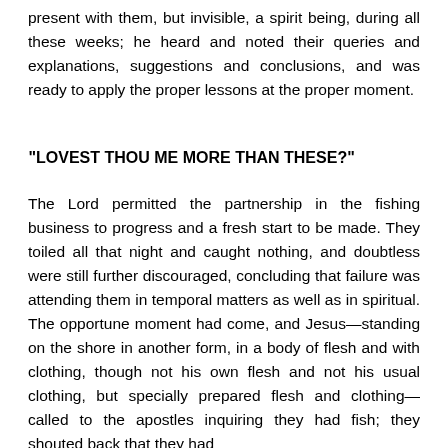present with them, but invisible, a spirit being, during all these weeks; he heard and noted their queries and explanations, suggestions and conclusions, and was ready to apply the proper lessons at the proper moment.
“LOVEST THOU ME MORE THAN THESE?”
The Lord permitted the partnership in the fishing business to progress and a fresh start to be made. They toiled all that night and caught nothing, and doubtless were still further discouraged, concluding that failure was attending them in temporal matters as well as in spiritual. The opportune moment had come, and Jesus—standing on the shore in another form, in a body of flesh and with clothing, though not his own flesh and not his usual clothing, but specially prepared flesh and clothing—called to the apostles inquiring if they had fish; they shouted back that they had